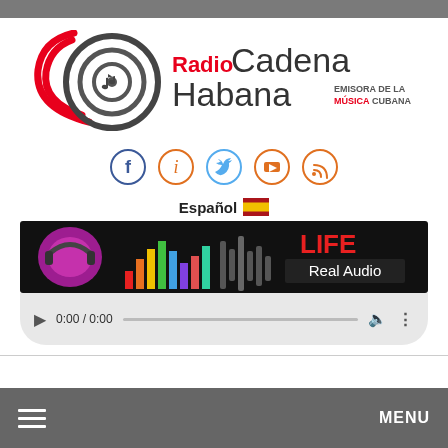[Figure (logo): Radio Cadena Habana logo with circular music note icon in dark grey and red swooshes, with text 'Radio Cadena Habana EMISORA DE LA MÚSICA CUBANA']
[Figure (infographic): Row of 5 social media icons in circles: Facebook (blue), info/i (orange), Twitter (light blue), YouTube (orange-red), RSS (orange)]
Español 🇪🇸
[Figure (screenshot): Radio streaming banner showing globe with headphones, colorful sound wave bars, and 'LIFE Real Audio' text on black background]
[Figure (screenshot): HTML5 audio player with play button, time 0:00 / 0:00, progress bar, volume icon, and more options icon]
MENU